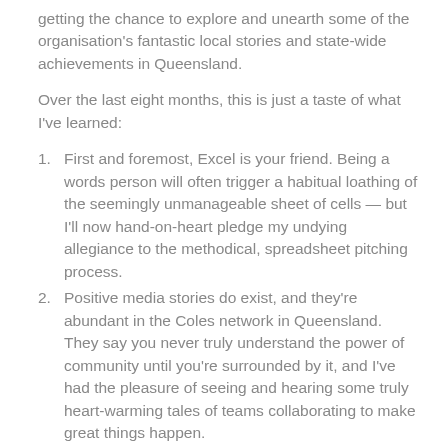getting the chance to explore and unearth some of the organisation's fantastic local stories and state-wide achievements in Queensland.
Over the last eight months, this is just a taste of what I've learned:
First and foremost, Excel is your friend. Being a words person will often trigger a habitual loathing of the seemingly unmanageable sheet of cells — but I'll now hand-on-heart pledge my undying allegiance to the methodical, spreadsheet pitching process.
Positive media stories do exist, and they're abundant in the Coles network in Queensland. They say you never truly understand the power of community until you're surrounded by it, and I've had the pleasure of seeing and hearing some truly heart-warming tales of teams collaborating to make great things happen.
If at first you don't succeed, try again. This kind of attitude